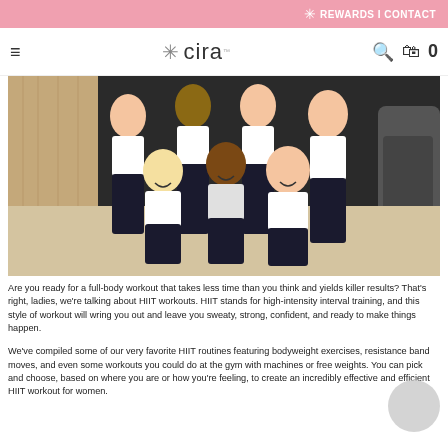REWARDS | CONTACT
[Figure (logo): Cira nutrition logo with asterisk/snowflake symbol and the word 'cira']
[Figure (photo): Group of women in white sports bras and dark leggings posing and laughing together in a gym setting]
Are you ready for a full-body workout that takes less time than you think and yields killer results? That's right, ladies, we're talking about HIIT workouts. HIIT stands for high-intensity interval training, and this style of workout will wring you out and leave you sweaty, strong, confident, and ready to make things happen.
We've compiled some of our very favorite HIIT routines featuring bodyweight exercises, resistance band moves, and even some workouts you could do at the gym with machines or free weights. You can pick and choose, based on where you are or how you're feeling, to create an incredibly effective and efficient HIIT workout for women.